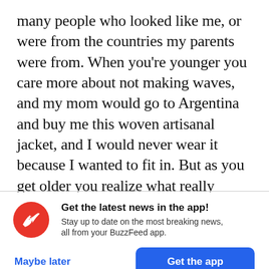many people who looked like me, or were from the countries my parents were from. When you're younger you care more about not making waves, and my mom would go to Argentina and buy me this woven artisanal jacket, and I would never wear it because I wanted to fit in. But as you get older you realize what really matters is your family, and appreciating your culture and where your family comes from. And with age I've embraced that more.

These pieces help me connect. It's like a tether back
[Figure (logo): BuzzFeed app icon: red circle with white upward arrow/trend logo]
Get the latest news in the app! Stay up to date on the most breaking news, all from your BuzzFeed app.
Maybe later
Get the app